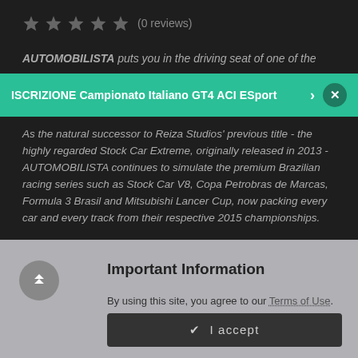★★★★★ (0 reviews)
AUTOMOBILISTA puts you in the driving seat of one of the
ISCRIZIONE Campionato Italiano GT4 ACI ESport  >  ×
As the natural successor to Reiza Studios' previous title - the highly regarded Stock Car Extreme, originally released in 2013 - AUTOMOBILISTA continues to simulate the premium Brazilian racing series such as Stock Car V8, Copa Petrobras de Marcas, Formula 3 Brasil and Mitsubishi Lancer Cup, now packing every car and every track from their respective 2015 championships.
Important Information
By using this site, you agree to our Terms of Use.
✔  I accept